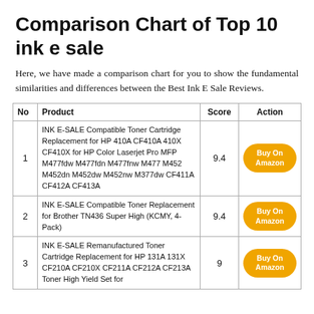Comparison Chart of Top 10 ink e sale
Here, we have made a comparison chart for you to show the fundamental similarities and differences between the Best Ink E Sale Reviews.
| No | Product | Score | Action |
| --- | --- | --- | --- |
| 1 | INK E-SALE Compatible Toner Cartridge Replacement for HP 410A CF410A 410X CF410X for HP Color Laserjet Pro MFP M477fdw M477fdn M477fnw M477 M452 M452dn M452dw M452nw M377dw CF411A CF412A CF413A | 9.4 | Buy On Amazon |
| 2 | INK E-SALE Compatible Toner Replacement for Brother TN436 Super High (KCMY, 4-Pack) | 9.4 | Buy On Amazon |
| 3 | INK E-SALE Remanufactured Toner Cartridge Replacement for HP 131A 131X CF210A CF210X CF211A CF212A CF213A Toner High Yield Set for | 9 | Buy On Amazon |